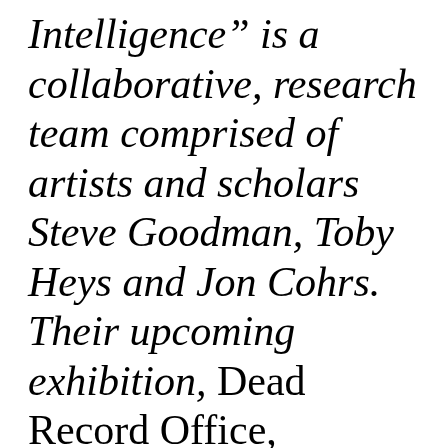Intelligence" is a collaborative, research team comprised of artists and scholars Steve Goodman, Toby Heys and Jon Cohrs. Their upcoming exhibition, Dead Record Office, explores the historical and